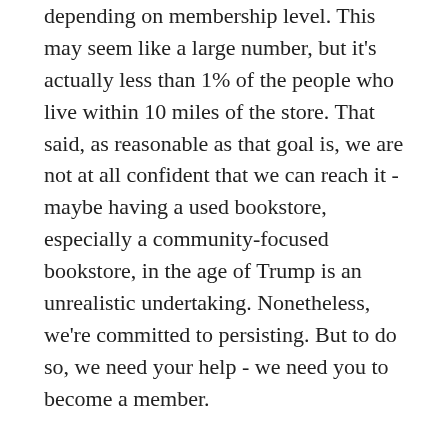depending on membership level. This may seem like a large number, but it's actually less than 1% of the people who live within 10 miles of the store. That said, as reasonable as that goal is, we are not at all confident that we can reach it - maybe having a used bookstore, especially a community-focused bookstore, in the age of Trump is an unrealistic undertaking. Nonetheless, we're committed to persisting. But to do so, we need your help - we need you to become a member.
We have membership levels for all income levels, and with each level members will receive benefits that exceed that cost of membership. If